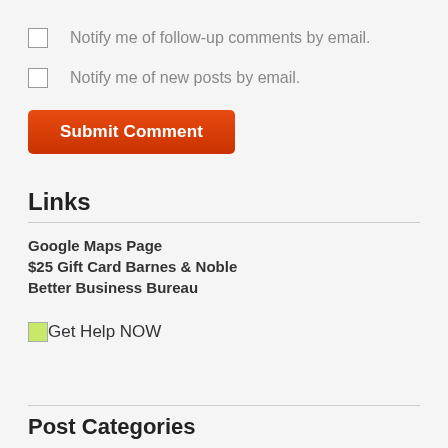Notify me of follow-up comments by email.
Notify me of new posts by email.
Submit Comment
Links
Google Maps Page
$25 Gift Card Barnes & Noble
Better Business Bureau
Get Help NOW
Post Categories